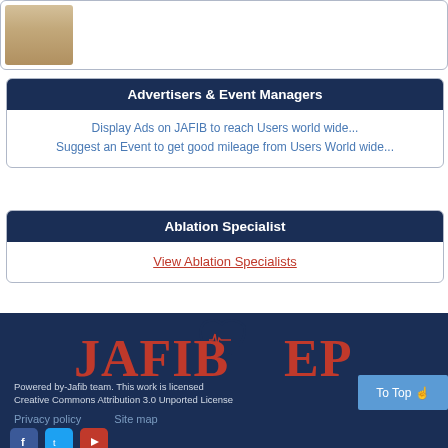[Figure (photo): Profile photo of a person in a light-colored jacket]
Advertisers & Event Managers
Display Ads on JAFIB to reach Users world wide...
Suggest an Event to get good mileage from Users World wide...
Ablation Specialist
View Ablation Specialists
[Figure (logo): JAFIB EP logo with heart symbol in dark navy background]
Powered by-Jafib team. This work is licensed Creative Commons Attribution 3.0 Unported License
Privacy policy   Site map
[Figure (infographic): Social media icons: Facebook, Twitter, YouTube]